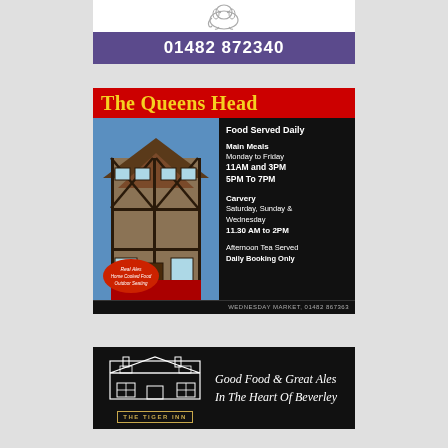[Figure (infographic): Purple banner ad showing phone number 01482 872340]
[Figure (infographic): The Queens Head pub advertisement with red header, Tudor building photo, and food serving times. Food Served Daily: Main Meals Monday to Friday 11AM and 3PM, 5PM To 7PM. Carvery Saturday, Sunday & Wednesday 11.30 AM to 2PM. Afternoon Tea Served Daily Booking Only. Wednesday Market, 01482 867363. Real Ales, Home Cooked Food, Outdoor Seating.]
[Figure (infographic): The Tiger Inn advertisement: Good Food & Great Ales In The Heart Of Beverley]